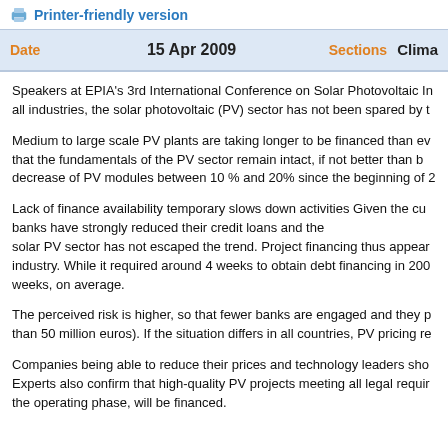Printer-friendly version
| Date | 15 Apr 2009 | Sections | Clima |
| --- | --- | --- | --- |
Speakers at EPIA's 3rd International Conference on Solar Photovoltaic In all industries, the solar photovoltaic (PV) sector has not been spared by t
Medium to large scale PV plants are taking longer to be financed than ev that the fundamentals of the PV sector remain intact, if not better than b decrease of PV modules between 10 % and 20% since the beginning of 2
Lack of finance availability temporary slows down activities Given the cu banks have strongly reduced their credit loans and the solar PV sector has not escaped the trend. Project financing thus appear industry. While it required around 4 weeks to obtain debt financing in 200 weeks, on average.
The perceived risk is higher, so that fewer banks are engaged and they p than 50 million euros). If the situation differs in all countries, PV pricing re
Companies being able to reduce their prices and technology leaders sho Experts also confirm that high-quality PV projects meeting all legal requir the operating phase, will be financed.